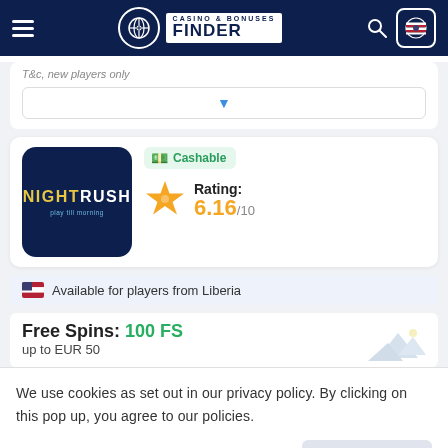Casino & Bonuses Finder
T&c, new players only
[Figure (screenshot): Dropdown selector with blue triangle arrow]
[Figure (logo): NightRush casino logo - dark navy square with NIGHTRUSH text and play till morning tagline]
Cashable
Rating: 6.16/10
Available for players from Liberia
Free Spins: 100 FS
up to EUR 50
We use cookies as set out in our privacy policy. By clicking on this pop up, you agree to our policies.
Read the privacy policy
It's OK For Me